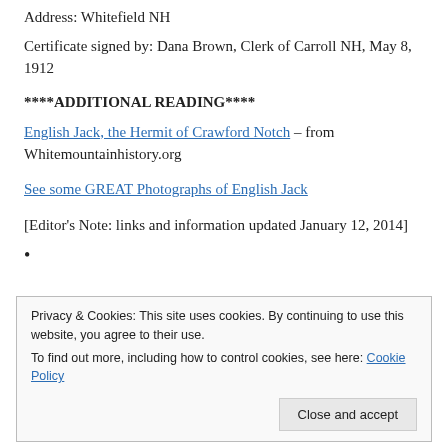Address: Whitefield NH
Certificate signed by: Dana Brown, Clerk of Carroll NH, May 8, 1912
****ADDITIONAL READING****
English Jack, the Hermit of Crawford Notch – from Whitemountainhistory.org
See some GREAT Photographs of English Jack
[Editor's Note: links and information updated January 12, 2014]
•
Privacy & Cookies: This site uses cookies. By continuing to use this website, you agree to their use.
To find out more, including how to control cookies, see here: Cookie Policy